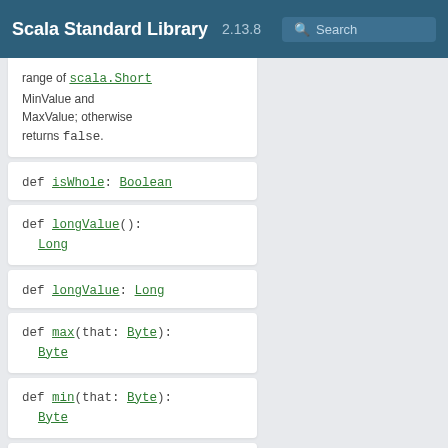Scala Standard Library 2.13.8 Search
range of scala.Short MinValue and MaxValue; otherwise returns false.
def isWhole: Boolean
def longValue(): Long
def longValue: Long
def max(that: Byte): Byte
def min(that: Byte): Byte
val self: Byte
def shortValue():